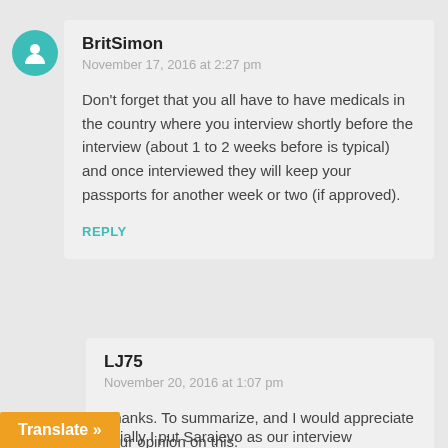BritSimon
November 17, 2016 at 2:27 pm
Don't forget that you all have to have medicals in the country where you interview shortly before the interview (about 1 to 2 weeks before is typical) and once interviewed they will keep your passports for another week or two (if approved).
REPLY
LJ75
November 20, 2016 at 1:07 pm
Thanks. To summarize, and I would appreciate your opinion on this:
Initially I put Sarajevo as our interview
Translate »